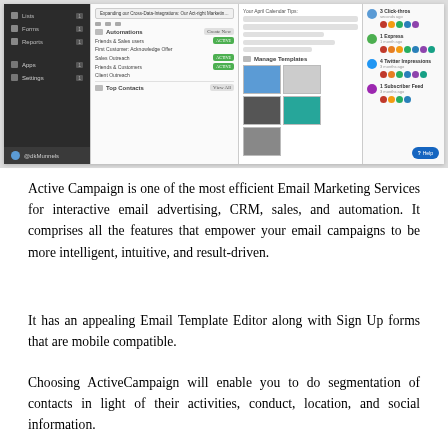[Figure (screenshot): Screenshot of ActiveCampaign dashboard interface showing left navigation sidebar with Lists, Forms, Reports menu items, a main panel with Automations section showing automation rows with green Active badges, a Manage Templates panel with thumbnail previews, and a right panel showing recent activity with user avatars and a blue Help button.]
Active Campaign is one of the most efficient Email Marketing Services for interactive email advertising, CRM, sales, and automation. It comprises all the features that empower your email campaigns to be more intelligent, intuitive, and result-driven.
It has an appealing Email Template Editor along with Sign Up forms that are mobile compatible.
Choosing ActiveCampaign will enable you to do segmentation of contacts in light of their activities, conduct, location, and social information.